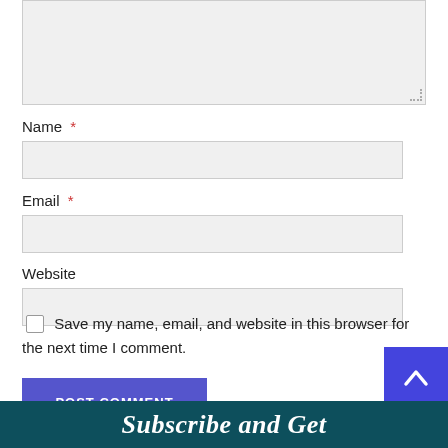[Figure (screenshot): Textarea input box (comment field), partially showing, light gray background with resize handle at bottom right]
Name *
[Figure (screenshot): Name input field, light gray background, empty text box]
Email *
[Figure (screenshot): Email input field, light gray background, empty text box]
Website
[Figure (screenshot): Website input field, light gray background, empty text box]
Save my name, email, and website in this browser for the next time I comment.
POST COMMENT
Subscribe and Get